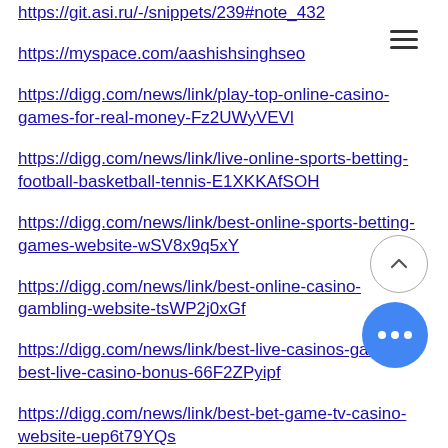https://git.asi.ru/-/snippets/239#note_432
https://myspace.com/aashishsinghseo
https://digg.com/news/link/play-top-online-casino-games-for-real-money-Fz2UWyVEVl
https://digg.com/news/link/live-online-sports-betting-football-basketball-tennis-E1XKKAfSOH
https://digg.com/news/link/best-online-sports-betting-games-website-wSV8x9q5xY
https://digg.com/news/link/best-online-casino-gambling-website-tsWP2j0xGf
https://digg.com/news/link/best-live-casinos-games-best-live-casino-bonus-66F2ZPyipf
https://digg.com/news/link/best-bet-game-tv-casino-website-uep6t79YQs